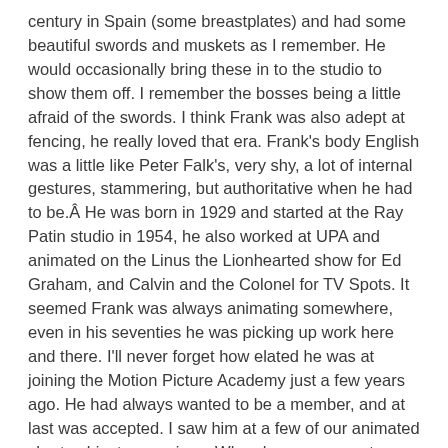century in Spain (some breastplates) and had some beautiful swords and muskets as I remember. He would occasionally bring these in to the studio to show them off. I remember the bosses being a little afraid of the swords. I think Frank was also adept at fencing, he really loved that era. Frank's body English was a little like Peter Falk's, very shy, a lot of internal gestures, stammering, but authoritative when he had to be.Â He was born in 1929 and started at the Ray Patin studio in 1954, he also worked at UPA and animated on the Linus the Lionhearted show for Ed Graham, and Calvin and the Colonel for TV Spots. It seemed Frank was always animating somewhere, even in his seventies he was picking up work here and there. I'll never forget how elated he was at joining the Motion Picture Academy just a few years ago. He had always wanted to be a member, and at last was accepted. I saw him at a few of our animated short subject screenings. When he saw my cartoon, “It's 'The Cat'”, his only comment was, “Looks like your stuff, alright.” He followed that up with his patented little giggle. Gosh, I hate to see Frank leave us, passing on this year at the age of eighty-three. He was a really great pro cartoonist and beloved by his friends. In later years I saw him rarely, but will always remember how